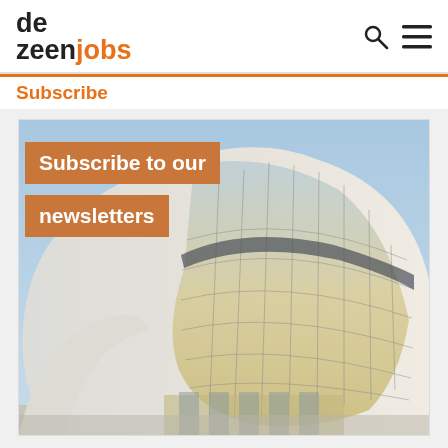dezeen jobs
Subscribe
[Figure (photo): Architectural photograph of a modern curved building (Heydar Aliyev Center by Zaha Hadid) with white sweeping organic form and large glass facade, with overlaid text 'Subscribe to our newsletters' on an orange background.]